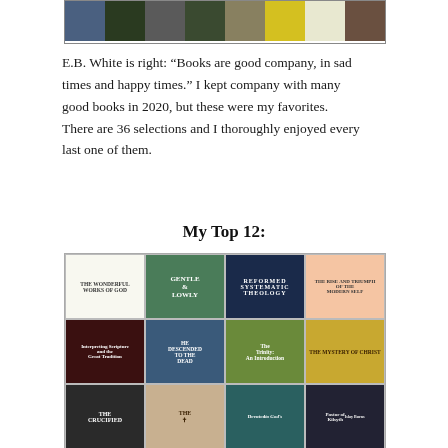[Figure (photo): A horizontal strip of book covers at the top of the page]
E.B. White is right: “Books are good company, in sad times and happy times.” I kept company with many good books in 2020, but these were my favorites. There are 36 selections and I thoroughly enjoyed every last one of them.
My Top 12:
[Figure (photo): A 4x3 grid of book covers including: The Wonderful Works of God, Gentle and Lowly, Reformed Systematic Theology, The Rise and Triumph of the Modern Self, Interpreting Scripture and the Great Tradition, He Descended to the Dead, The Trinity: An Introduction, The Mystery of Christ, The Crucified (partial), a crown/cross book, Devoted to God's, Pastor of Kilsyth]